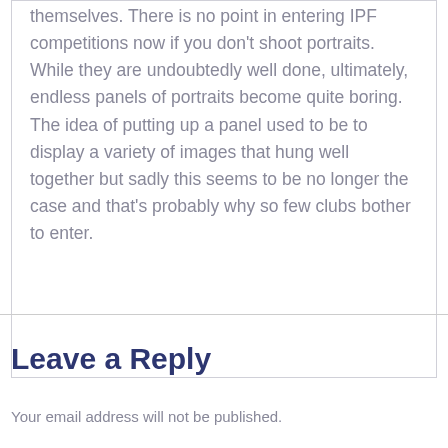themselves. There is no point in entering IPF competitions now if you don't shoot portraits. While they are undoubtedly well done, ultimately, endless panels of portraits become quite boring. The idea of putting up a panel used to be to display a variety of images that hung well together but sadly this seems to be no longer the case and that's probably why so few clubs bother to enter.
Leave a Reply
Your email address will not be published.